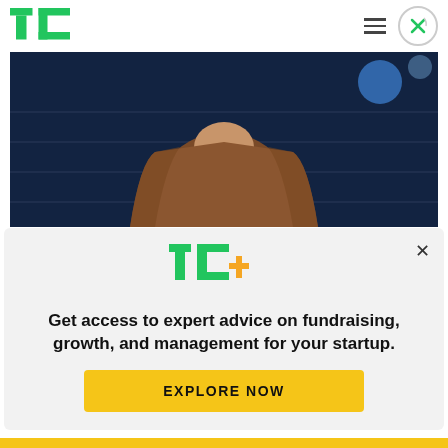TC
[Figure (photo): A person wearing a brown sweater standing in a dark blue-lit room, photographed from the chin down (headless framing).]
Teasingly, he said that N1 will be aimed at those who have not yet found the Android tablet that they
[Figure (logo): TechCrunch TC+ logo with green TC letters and orange + symbol]
Get access to expert advice on fundraising, growth, and management for your startup.
EXPLORE NOW